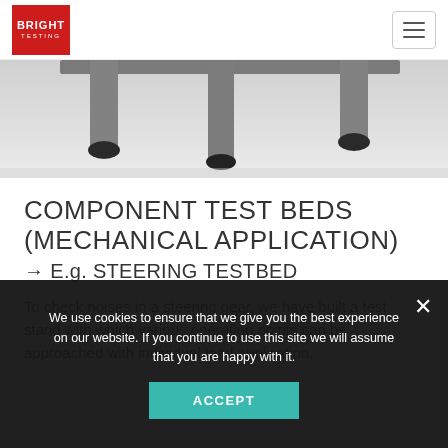BRIGHT TESTING
[Figure (photo): Bottom portion of a metal component test bed / steering testbed frame against a light grey background, showing grey steel legs and black rubber feet.]
COMPONENT TEST BEDS (MECHANICAL APPLICATION)
→ E.g. STEERING TESTBED
To check noises in a steering gear, we have built a test stand with which various operating points can be approached with individual load application.
We use cookies to ensure that we give you the best experience on our website. If you continue to use this site we will assume that you are happy with it.